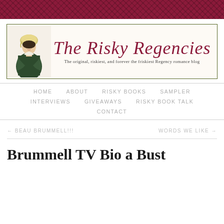[Figure (illustration): Dark red/maroon floral damask pattern banner at top of page]
[Figure (logo): The Risky Regencies blog banner with Regency-era woman illustration on left, script title 'The Risky Regencies' in crimson, subtitle 'The original, riskiest, and forever the friskiest Regency romance blog']
HOME   ABOUT   RISKY BOOKS   SAMPLER   INTERVIEWS   GIVEAWAYS   RISKY BOOK TALK   CONTACT
← BEAU BRUMMELL!!!   WORDS WE LIKE →
Brummell TV Bio a Bust